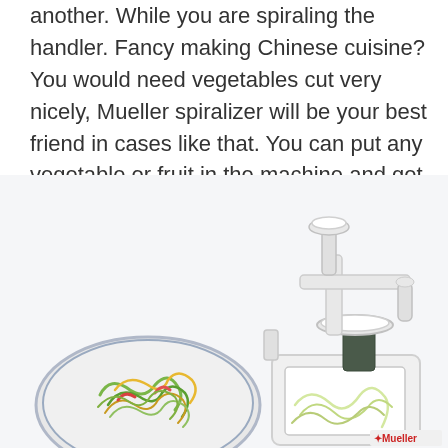another. While you are spiraling the handler. Fancy making Chinese cuisine? You would need vegetables cut very nicely, Mueller spiralizer will be your best friend in cases like that. You can put any vegetable or fruit in the machine and get neat spirals within a few minutes.
[Figure (photo): Photo of the Mueller spiralizer kitchen appliance (white, with hand-crank mechanism and blade assembly) next to a plate of colorful spiralized vegetable noodles. The Mueller brand logo is visible at the bottom right.]